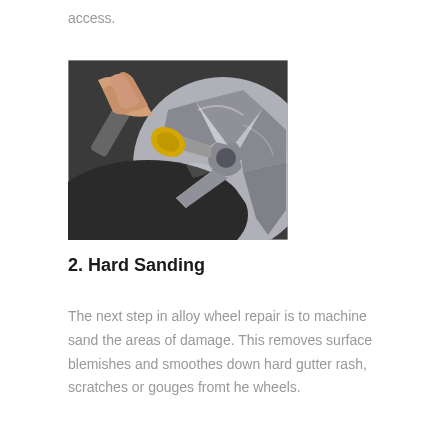access.
[Figure (photo): A person using a rotary sanding/polishing tool on an alloy wheel. The metallic alloy wheel spokes are visible with the tool being applied to the rim area.]
2. Hard Sanding
The next step in alloy wheel repair is to machine sand the areas of damage. This removes surface blemishes and smoothes down hard gutter rash, scratches or gouges fromt he wheels.